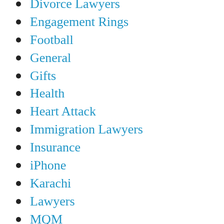Divorce Lawyers
Engagement Rings
Football
General
Gifts
Health
Heart Attack
Immigration Lawyers
Insurance
iPhone
Karachi
Lawyers
MQM
MQM Pakistan
Music
Painkiller Addiction
Pakistan